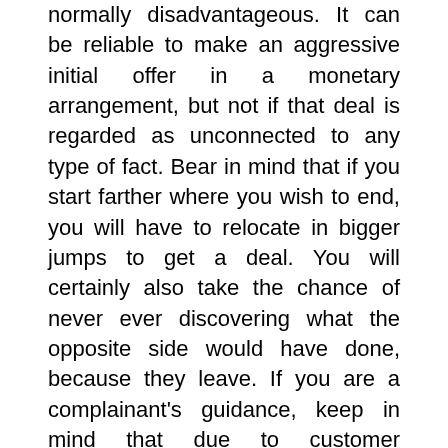normally disadvantageous. It can be reliable to make an aggressive initial offer in a monetary arrangement, but not if that deal is regarded as unconnected to any type of fact. Bear in mind that if you start farther where you wish to end, you will have to relocate in bigger jumps to get a deal. You will certainly also take the chance of never ever discovering what the opposite side would have done, because they leave. If you are a complainant's guidance, keep in mind that due to customer dynamics, protection advice never ever intends to have actually refused a demand, and after that done even worse at test. Alternatively, a protection advice's